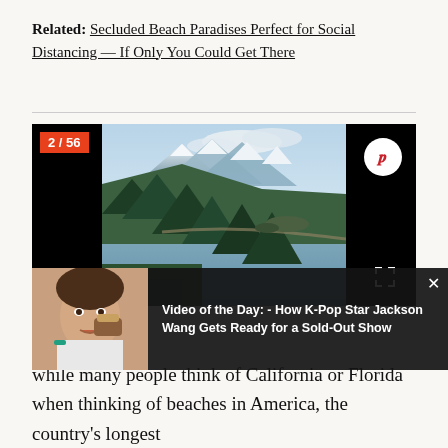Related: Secluded Beach Paradises Perfect for Social Distancing — If Only You Could Get There
[Figure (photo): Slideshow image 2 of 56 showing an Alaskan coastal landscape with snow-capped mountains, evergreen trees, and a winding coastal road along a calm bay. Pinterest share button and fullscreen button visible. Black panels on left and right sides.]
[Figure (screenshot): Video overlay: thumbnail of a young woman applying makeup, with text 'Video of the Day: - How K-Pop Star Jackson Wang Gets Ready for a Sold-Out Show']
while many people think of California or Florida when thinking of beaches in America, the country's longest